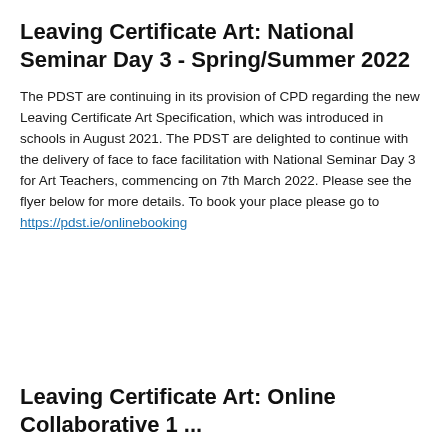Leaving Certificate Art: National Seminar Day 3 - Spring/Summer 2022
The PDST are continuing in its provision of CPD regarding the new Leaving Certificate Art Specification, which was introduced in schools in August 2021. The PDST are delighted to continue with the delivery of face to face facilitation with National Seminar Day 3 for Art Teachers, commencing on 7th March 2022. Please see the flyer below for more details. To book your place please go to https://pdst.ie/onlinebooking
Leaving Certificate Art: Online Collaborative 1 ...